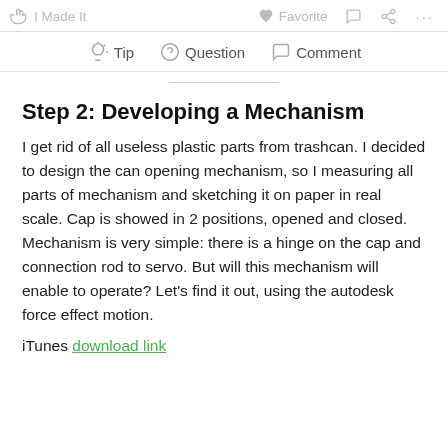I Made It   Favorite   Comment   Share   ...
Tip   Question   Comment
Step 2: Developing a Mechanism
I get rid of all useless plastic parts from trashcan. I decided to design the can opening mechanism, so I measuring all parts of mechanism and sketching it on paper in real scale. Cap is showed in 2 positions, opened and closed. Mechanism is very simple: there is a hinge on the cap and connection rod to servo. But will this mechanism will enable to operate? Let's find it out, using the autodesk force effect motion.
iTunes download link